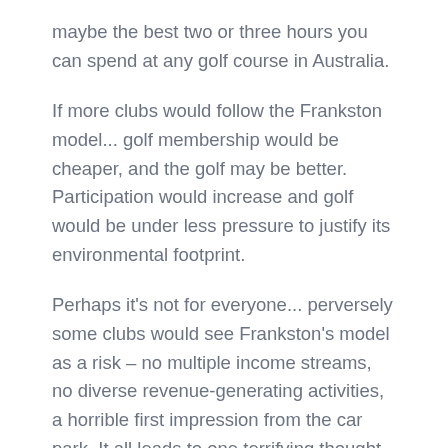maybe the best two or three hours you can spend at any golf course in Australia.
If more clubs would follow the Frankston model... golf membership would be cheaper, and the golf may be better. Participation would increase and golf would be under less pressure to justify its environmental footprint.
Perhaps it's not for everyone... perversely some clubs would see Frankston's model as a risk – no multiple income streams, no diverse revenue-generating activities, a horrible first impression from the car park. It all leads to one terrifying thought – to rely on good golf to attract people to a golf course...
By Adrian Logue